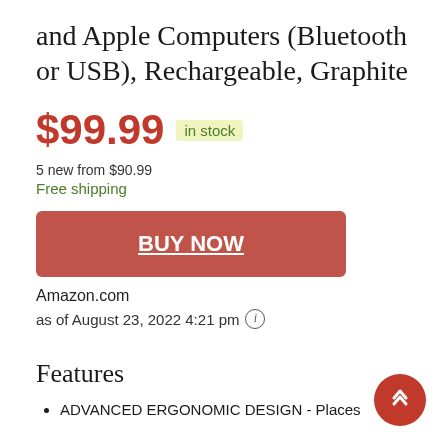and Apple Computers (Bluetooth or USB), Rechargeable, Graphite
$99.99  in stock
5 new from $90.99
Free shipping
BUY NOW
Amazon.com
as of August 23, 2022 4:21 pm
Features
ADVANCED ERGONOMIC DESIGN - Places